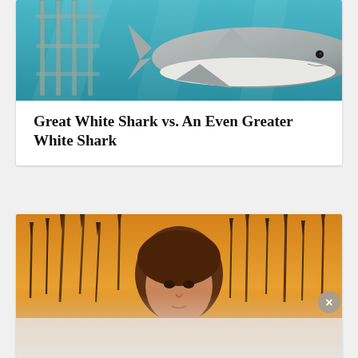[Figure (photo): Underwater photo showing a great white shark swimming near a metal cage structure, teal-blue water background.]
Great White Shark vs. An Even Greater White Shark
[Figure (illustration): Book cover or illustration showing a young person with brown hair surrounded by spears or reeds against a golden-yellow sky background. Lower portion overlaid with a semi-transparent ad panel with an X close button.]